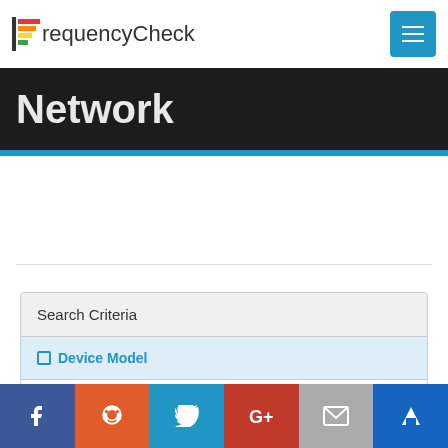FrequencyCheck
Network
Search Criteria
Device Model
Meizu m3s Y685C Dual SIM TD-LTE 16GB / Y685Q (Meizu Meilan 3s)
View full device details
Social share bar: Facebook, Reddit, Twitter, Google+, Email, Crown